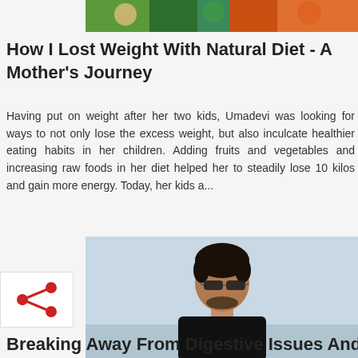[Figure (photo): Top partial image showing people in colorful clothing]
How I Lost Weight With Natural Diet - A Mother's Journey
Having put on weight after her two kids, Umadevi was looking for ways to not only lose the excess weight, but also inculcate healthier eating habits in her children. Adding fruits and vegetables and increasing raw foods in her diet helped her to steadily lose 10 kilos and gain more energy. Today, her kids a...
[Figure (photo): Young man wearing sunglasses and a black t-shirt, standing outdoors near water]
Breaking Away From Digestive Issues And